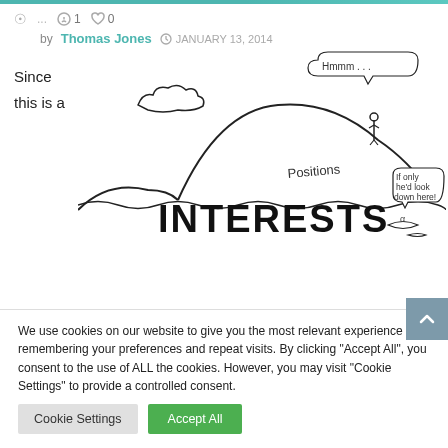◎ ... ◯1 ♡0
by Thomas Jones  JANUARY 13, 2014
Since
this is a
[Figure (illustration): Hand-drawn illustration of an iceberg with 'Positions' written on the visible part above water and 'INTERESTS' written in large letters on the larger submerged part. A stick figure stands on top with a speech bubble saying 'Hmmm...' and a fish underwater has a speech bubble saying 'If only he'd look down here!']
We use cookies on our website to give you the most relevant experience by remembering your preferences and repeat visits. By clicking "Accept All", you consent to the use of ALL the cookies. However, you may visit "Cookie Settings" to provide a controlled consent.
Cookie Settings   Accept All